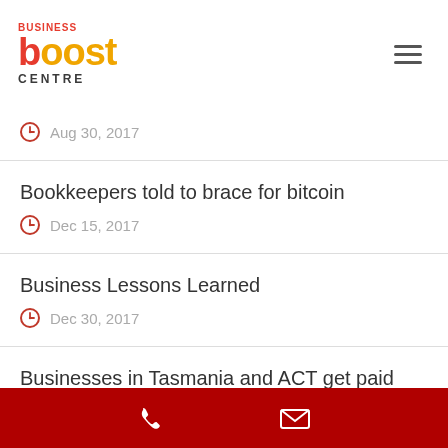Business Boost Centre
Aug 30, 2017
Bookkeepers told to brace for bitcoin
Dec 15, 2017
Business Lessons Learned
Dec 30, 2017
Businesses in Tasmania and ACT get paid fastest
Feb 13, 2018
Phone and email contact icons